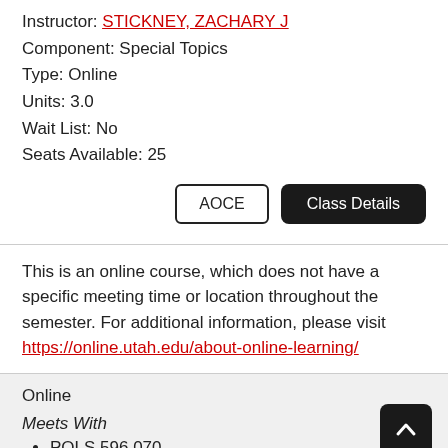Instructor: STICKNEY, ZACHARY J
Component: Special Topics
Type: Online
Units: 3.0
Wait List: No
Seats Available: 25
AOCE | Class Details (buttons)
This is an online course, which does not have a specific meeting time or location throughout the semester. For additional information, please visit https://online.utah.edu/about-online-learning/
Online
Meets With
POLS 596 070